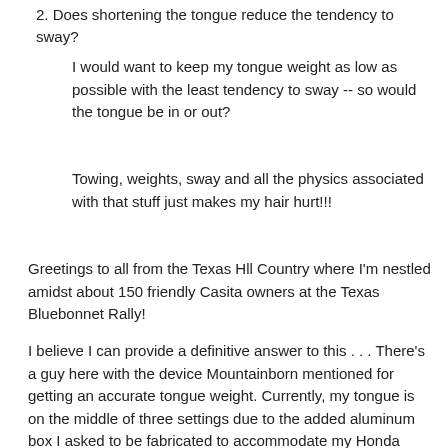2. Does shortening the tongue reduce the tendency to sway?
I would want to keep my tongue weight as low as possible with the least tendency to sway -- so would the tongue be in or out?
Towing, weights, sway and all the physics associated with that stuff just makes my hair hurt!!!
Greetings to all from the Texas Hll Country where I'm nestled amidst about 150 friendly Casita owners at the Texas Bluebonnet Rally!
I believe I can provide a definitive answer to this . . . There's a guy here with the device Mountainborn mentioned for getting an accurate tongue weight. Currently, my tongue is on the middle of three settings due to the added aluminum box I asked to be fabricated to accommodate my Honda 2000 generator. it is strapped down with two ratchet straps and secured with two lockstraps. Gas